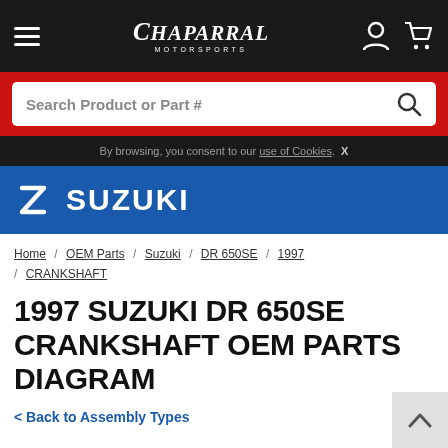Chaparral Motorsports
Search Product or Part #
By browsing, you consent to our use of Cookies.  X
[Figure (logo): Suzuki brand logo with 'S' symbol and SUZUKI text in white on blue background]
Home / OEM Parts / Suzuki / DR 650SE / 1997 / CRANKSHAFT
1997 SUZUKI DR 650SE CRANKSHAFT OEM PARTS DIAGRAM
< Back to Assembly Types